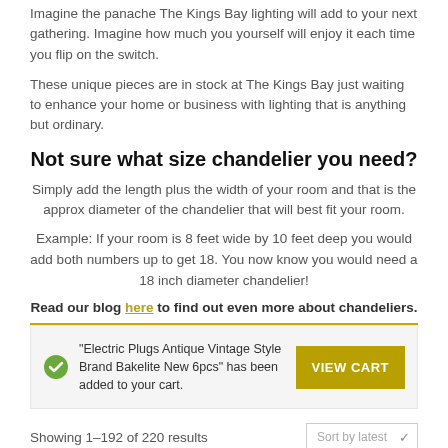Imagine the panache The Kings Bay lighting will add to your next gathering. Imagine how much you yourself will enjoy it each time you flip on the switch.
These unique pieces are in stock at The Kings Bay just waiting to enhance your home or business with lighting that is anything but ordinary.
Not sure what size chandelier you need?
Simply add the length plus the width of your room and that is the approx diameter of the chandelier that will best fit your room.
Example: If your room is 8 feet wide by 10 feet deep you would add both numbers up to get 18. You now know you would need a 18 inch diameter chandelier!
Read our blog here to find out even more about chandeliers.
"Electric Plugs Antique Vintage Style Brand Bakelite New 6pcs" has been added to your cart.
Showing 1-192 of 220 results